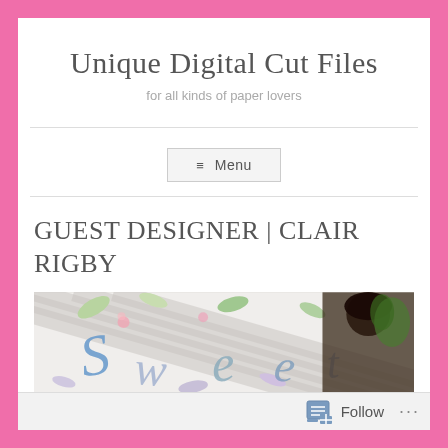Unique Digital Cut Files
for all kinds of paper lovers
≡ Menu
GUEST DESIGNER | CLAIR RIGBY
[Figure (photo): Banner image showing paper craft artwork with colorful cut letters and floral designs, with a person visible on the right side]
Follow ...